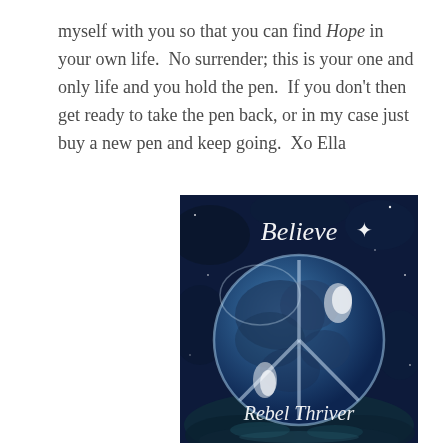myself with you so that you can find Hope in your own life.  No surrender; this is your one and only life and you hold the pen.  If you don't then get ready to take the pen back, or in my case just buy a new pen and keep going.  Xo Ella
[Figure (illustration): A dark blue image showing a globe/earth as a translucent sphere with a peace symbol overlaid, set against a deep blue starry/mossy background. White cursive text at the top reads 'Believe*' and at the bottom reads 'Rebel Thriver'.]